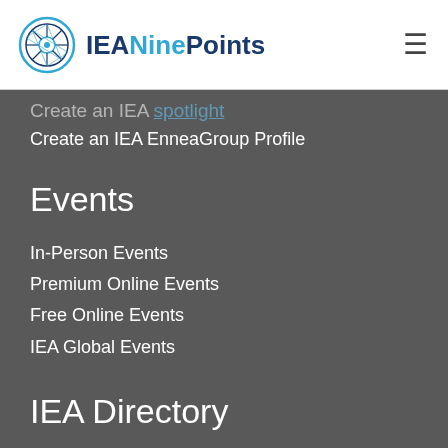IEANinePoints
Create an IEA EnneaGroup Profile
Events
In-Person Events
Premium Online Events
Free Online Events
IEA Global Events
IEA Directory